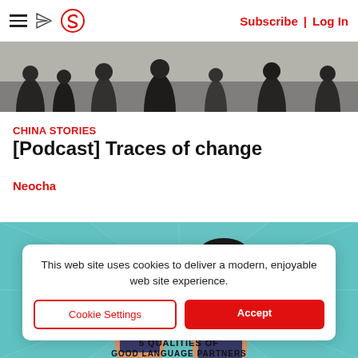Subscribe | Log In
[Figure (photo): Top banner photo showing a crowd of people walking on a street, slightly blurred]
CHINA STORIES
[Podcast] Traces of change
Neocha
[Figure (illustration): Illustrated artwork with teal ray background showing two cartoon-style characters with stylized faces, '5 QUALITIES OF GOOD LANGUAGE PARTNERS' text at the bottom]
This web site uses cookies to deliver a modern, enjoyable web site experience.
Cookie Settings
Accept